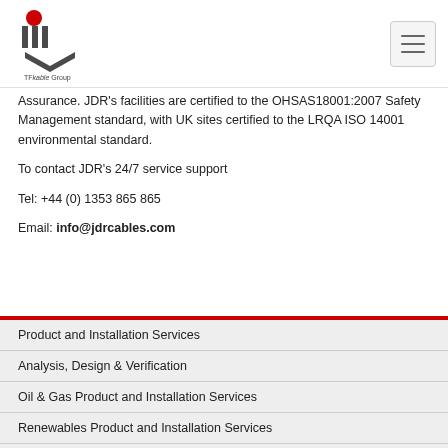JDR Cable Systems - TF Kable Group logo and navigation
Assurance. JDR's facilities are certified to the OHSAS18001:2007 Safety Management standard, with UK sites certified to the LRQA ISO 14001 environmental standard.
To contact JDR's 24/7 service support
Tel: +44 (0) 1353 865 865
Email: info@jdrcables.com
Product and Installation Services
Analysis, Design & Verification
Oil & Gas Product and Installation Services
Renewables Product and Installation Services
Oil & Gas Brochures